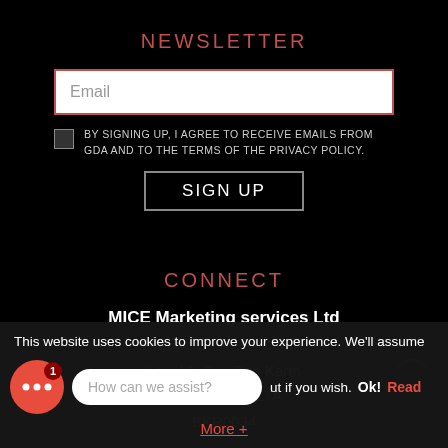NEWSLETTER
Email
BY SIGNING UP, I AGREE TO RECEIVE EMAILS FROM GDA AND TO THE TERMS OF THE PRIVACY POLICY.
SIGN UP
CONNECT
MICE Marketing services Ltd
Ewropa Business Centre
Level 1, Triq Dun Karm
Birkirkara MALTA
BKR0034
This website uses cookies to improve your experience. We'll assume
How can we assist?
ut if you wish.
Ok!
Read
More +